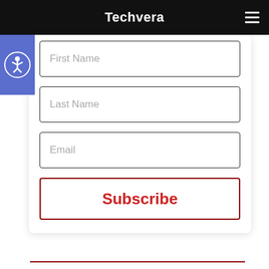Techvera
[Figure (other): Accessibility icon: blue square with stylized human figure in circle (wheelchair accessible icon)]
First Name
Last Name
Email
Subscribe